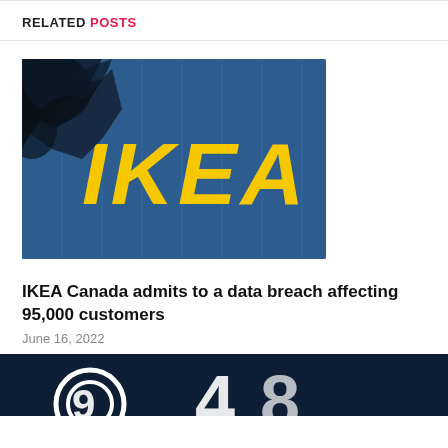RELATED POSTS
[Figure (photo): IKEA store exterior with large yellow IKEA letters on blue wall with tree branches silhouetted in foreground]
IKEA Canada admits to a data breach affecting 95,000 customers
June 16, 2022
[Figure (photo): Dark navy background with partial white graphic elements visible at bottom of page]